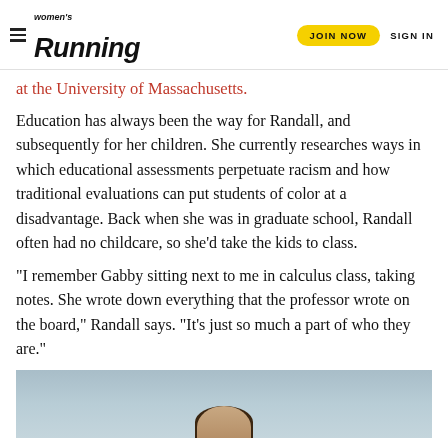Women's Running | JOIN NOW | SIGN IN
at the University of Massachusetts.
Education has always been the way for Randall, and subsequently for her children. She currently researches ways in which educational assessments perpetuate racism and how traditional evaluations can put students of color at a disadvantage. Back when she was in graduate school, Randall often had no childcare, so she'd take the kids to class.
“I remember Gabby sitting next to me in calculus class, taking notes. She wrote down everything that the professor wrote on the board,” Randall says. “It’s just so much a part of who they are.”
[Figure (photo): Photo of a person outdoors, partially visible at bottom of page, against a light blue background suggesting water or sky.]